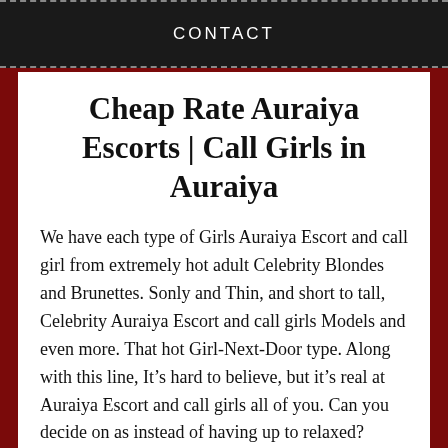CONTACT
Cheap Rate Auraiya Escorts | Call Girls in Auraiya
We have each type of Girls Auraiya Escort and call girl from extremely hot adult Celebrity Blondes and Brunettes. Sonly and Thin, and short to tall, Celebrity Auraiya Escort and call girls Models and even more. That hot Girl-Next-Door type. Along with this line, It’s hard to believe, but it’s real at Auraiya Escort and call girls all of you. Can you decide on as instead of having up to relaxed? Furthermore, our new site requires going to understand your model to a